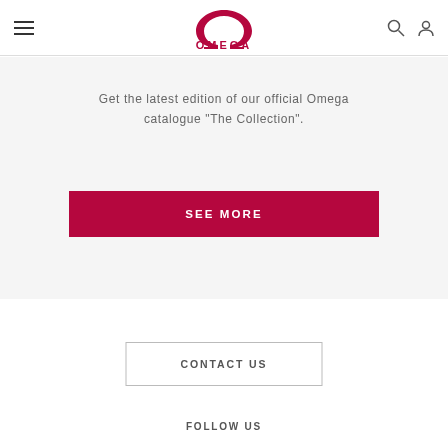OMEGA
Get the latest edition of our official Omega catalogue "The Collection".
SEE MORE
CONTACT US
FOLLOW US